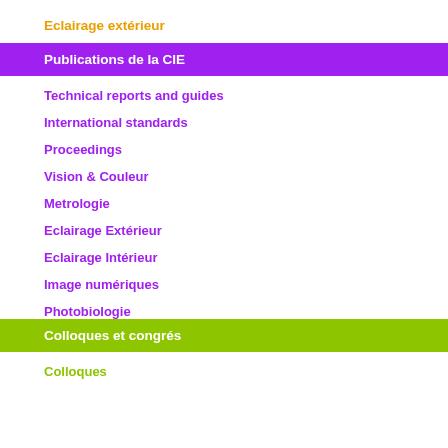Eclairage extérieur
Publications de la CIE
Technical reports and guides
International standards
Proceedings
Vision & Couleur
Metrologie
Eclairage Extérieur
Eclairage Intérieur
Image numériques
Photobiologie
Colloques et congrés
Colloques